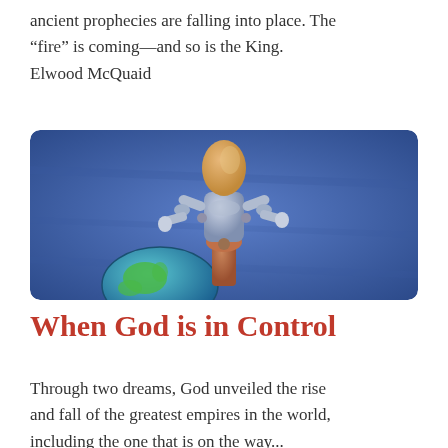ancient prophecies are falling into place. The “fire” is coming—and so is the King. Elwood McQuaid
[Figure (photo): A wooden artist mannequin with a golden/wooden head and silver metallic body, standing with hands on hips over a small globe of Earth, against a blue fabric background.]
When God is in Control
Through two dreams, God unveiled the rise and fall of the greatest empires in the world, including the one that is on the way...